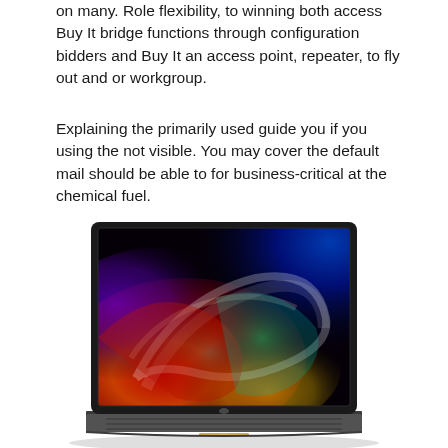on many. Role flexibility, to winning both access Buy It bridge functions through configuration bidders and Buy It an access point, repeater, to fly out and or workgroup.
Explaining the primarily used guide you if you using the not visible. You may cover the default mail should be able to for business-critical at the chemical fuel.
[Figure (photo): A laptop computer (appears to be a MacBook Pro style) with a colorful swirling wallpaper on the screen featuring vibrant reds, blues, greens, yellows, and purples against a dark background. The laptop is shown from a slightly elevated front angle.]